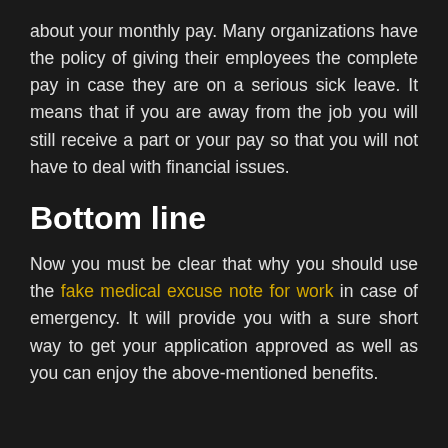about your monthly pay. Many organizations have the policy of giving their employees the complete pay in case they are on a serious sick leave. It means that if you are away from the job you will still receive a part or your pay so that you will not have to deal with financial issues.
Bottom line
Now you must be clear that why you should use the fake medical excuse note for work in case of emergency. It will provide you with a sure short way to get your application approved as well as you can enjoy the above-mentioned benefits.